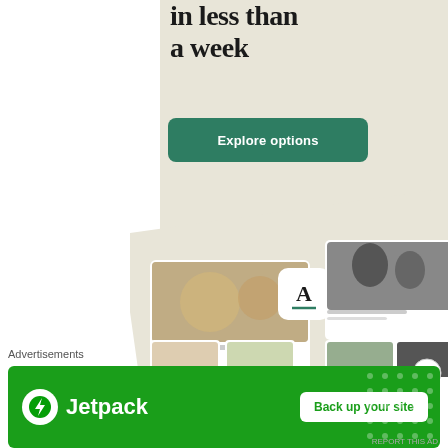[Figure (screenshot): Advertisement banner showing a beige/cream background with large text 'in less than a week' and a dark green 'Explore options' button, plus an app interface mockup showing food photos and content cards]
Advertisements
[Figure (infographic): Jetpack advertisement banner with green background, Jetpack logo (lightning bolt in circle), 'Jetpack' text, and a 'Back up your site' button]